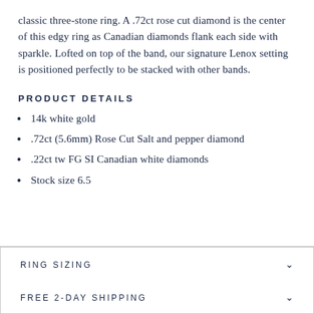classic three-stone ring. A .72ct rose cut diamond is the center of this edgy ring as Canadian diamonds flank each side with sparkle. Lofted on top of the band, our signature Lenox setting is positioned perfectly to be stacked with other bands.
PRODUCT DETAILS
14k white gold
.72ct (5.6mm) Rose Cut Salt and pepper diamond
.22ct tw FG SI Canadian white diamonds
Stock size 6.5
RING SIZING
FREE 2-DAY SHIPPING